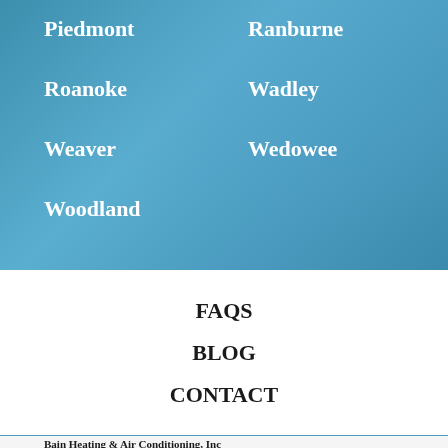Piedmont
Ranburne
Roanoke
Wadley
Weaver
Wedowee
Woodland
FAQS
BLOG
CONTACT
Bain Heating & Air Conditioning, Inc